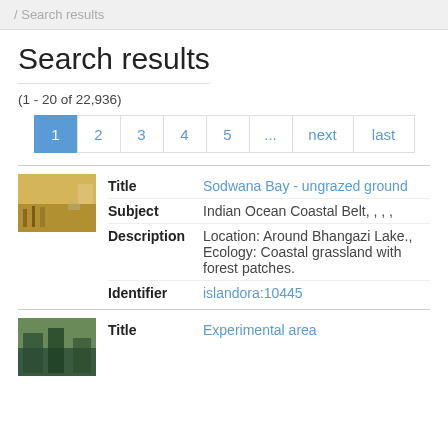/ Search results
Search results
(1 - 20 of 22,936)
Pagination: 1 2 3 4 5 ... next last
| Field | Value |
| --- | --- |
| Title | Sodwana Bay - ungrazed ground |
| Subject | Indian Ocean Coastal Belt, , , , |
| Description | Location: Around Bhangazi Lake., Ecology: Coastal grassland with forest patches. |
| Identifier | islandora:10445 |
| Field | Value |
| --- | --- |
| Title | Experimental area |